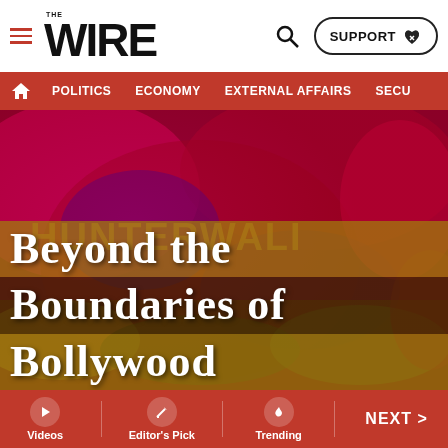THE WIRE — SUPPORT | POLITICS | ECONOMY | EXTERNAL AFFAIRS | SECU...
[Figure (screenshot): Hero image of a colorful Holi-themed background with graffiti text 'HUNTERWALI' overlaid with article title 'Beyond the Boundaries of Bollywood']
Beyond the Boundaries of Bollywood
Videos | Editor's Pick | Trending | NEXT >